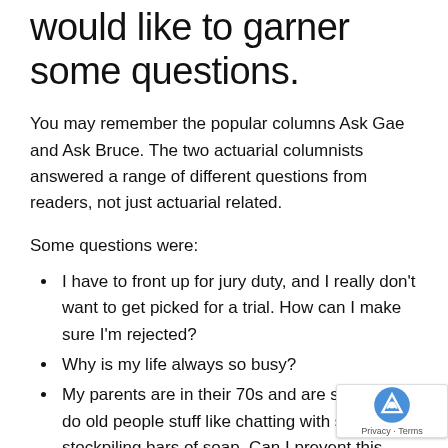would like to garner some questions.
You may remember the popular columns Ask Gae and Ask Bruce. The two actuarial columnists answered a range of different questions from readers, not just actuarial related.
Some questions were:
I have to front up for jury duty, and I really don't want to get picked for a trial. How can I make sure I'm rejected?
Why is my life always so busy?
My parents are in their 70s and are starting to do old people stuff like chatting with strangers, stockpiling bars of soap. Can I prevent this happening to me?